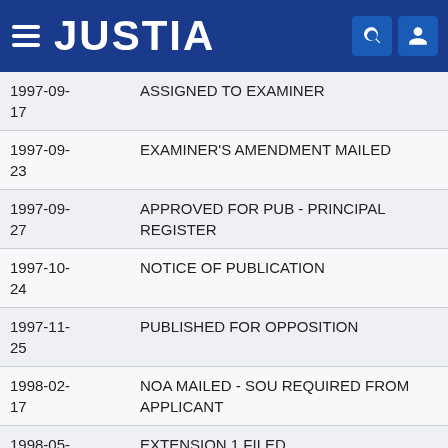JUSTIA
| Date | Event |
| --- | --- |
| 1997-09-17 | ASSIGNED TO EXAMINER |
| 1997-09-23 | EXAMINER'S AMENDMENT MAILED |
| 1997-09-27 | APPROVED FOR PUB - PRINCIPAL REGISTER |
| 1997-10-24 | NOTICE OF PUBLICATION |
| 1997-11-25 | PUBLISHED FOR OPPOSITION |
| 1998-02-17 | NOA MAILED - SOU REQUIRED FROM APPLICANT |
| 1998-05-26 | EXTENSION 1 FILED |